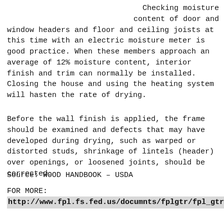Checking moisture content of door and window headers and floor and ceiling joists at this time with an electric moisture meter is good practice. When these members approach an average of 12% moisture content, interior finish and trim can normally be installed. Closing the house and using the heating system will hasten the rate of drying.
Before the wall finish is applied, the frame should be examined and defects that may have developed during drying, such as warped or distorted studs, shrinkage of lintels (header) over openings, or loosened joints, should be corrected.
Source: WOOD HANDBOOK – USDA
FOR MORE:
http://www.fpl.fs.fed.us/documnts/fplgtr/fpl_gtr190.pdf